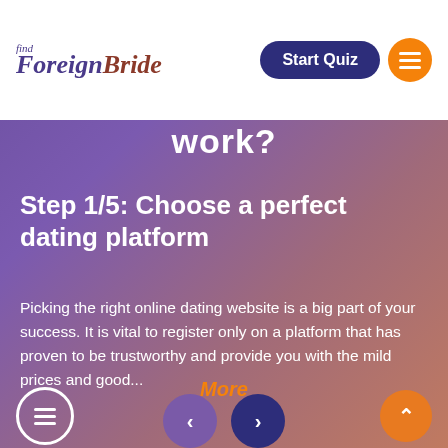find ForeignBride
work?
Step 1/5: Choose a perfect dating platform
Picking the right online dating website is a big part of your success. It is vital to register only on a platform that has proven to be trustworthy and provide you with the mild prices and good...
More